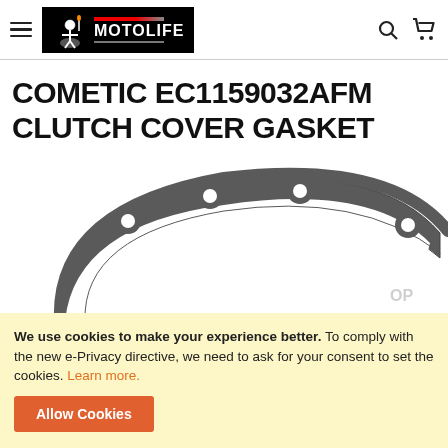MOTOLIFE - navigation header with hamburger menu, logo, search and cart icons
COMETIC EC1159032AFM CLUTCH COVER GASKET
[Figure (photo): Partial view of a clutch cover gasket (gray/dark colored ring-shaped gasket with bolt holes visible along the top arc), shown on white background]
We use cookies to make your experience better. To comply with the new e-Privacy directive, we need to ask for your consent to set the cookies. Learn more.
Allow Cookies